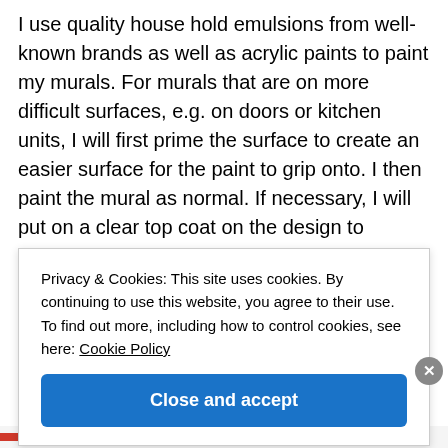I use quality house hold emulsions from well-known brands as well as acrylic paints to paint my murals. For murals that are on more difficult surfaces, e.g. on doors or kitchen units, I will first prime the surface to create an easier surface for the paint to grip onto. I then paint the mural as normal. If necessary, I will put on a clear top coat on the design to protect it. (Even with a top coat you will still need to be careful
Privacy & Cookies: This site uses cookies. By continuing to use this website, you agree to their use. To find out more, including how to control cookies, see here: Cookie Policy
Close and accept